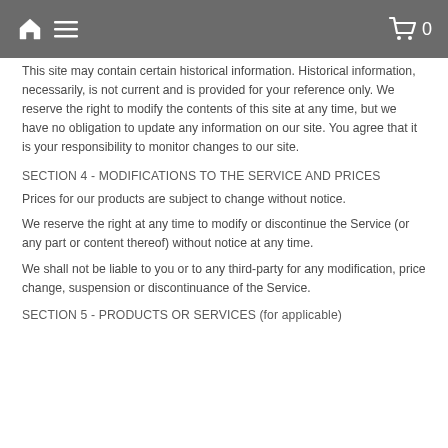Navigation bar with home icon, menu icon, and cart (0)
This site may contain certain historical information. Historical information, necessarily, is not current and is provided for your reference only. We reserve the right to modify the contents of this site at any time, but we have no obligation to update any information on our site. You agree that it is your responsibility to monitor changes to our site.
SECTION 4 - MODIFICATIONS TO THE SERVICE AND PRICES
Prices for our products are subject to change without notice.
We reserve the right at any time to modify or discontinue the Service (or any part or content thereof) without notice at any time.
We shall not be liable to you or to any third-party for any modification, price change, suspension or discontinuance of the Service.
SECTION 5 - PRODUCTS OR SERVICES (for applicable)